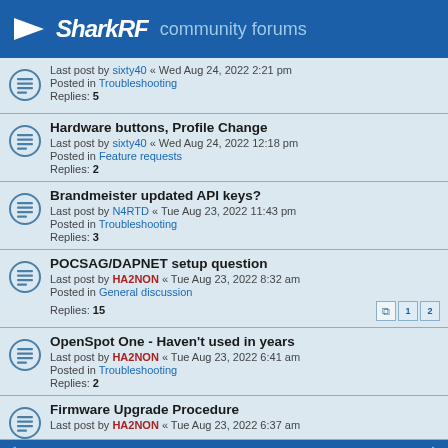SharkRF community forums
Last post by sixty40 « Wed Aug 24, 2022 2:21 pm
Posted in Troubleshooting
Replies: 5
Hardware buttons, Profile Change
Last post by sixty40 « Wed Aug 24, 2022 12:18 pm
Posted in Feature requests
Replies: 2
Brandmeister updated API keys?
Last post by N4RTD « Tue Aug 23, 2022 11:43 pm
Posted in Troubleshooting
Replies: 3
POCSAG/DAPNET setup question
Last post by HA2NON « Tue Aug 23, 2022 8:32 am
Posted in General discussion
Replies: 15
OpenSpot One - Haven't used in years
Last post by HA2NON « Tue Aug 23, 2022 6:41 am
Posted in Troubleshooting
Replies: 2
Firmware Upgrade Procedure
Last post by HA2NON « Tue Aug 23, 2022 6:37 am